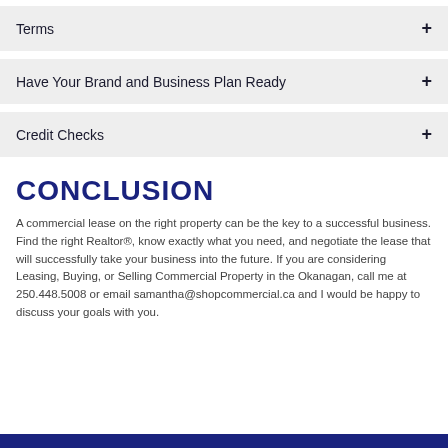Terms
Have Your Brand and Business Plan Ready
Credit Checks
CONCLUSION
A commercial lease on the right property can be the key to a successful business. Find the right Realtor®, know exactly what you need, and negotiate the lease that will successfully take your business into the future. If you are considering Leasing, Buying, or Selling Commercial Property in the Okanagan, call me at 250.448.5008 or email samantha@shopcommercial.ca and I would be happy to discuss your goals with you.